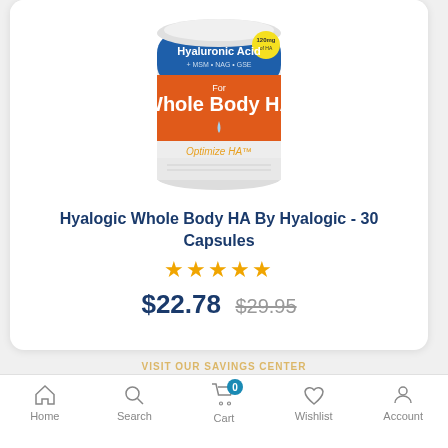[Figure (photo): Product photo of Hyalogic Whole Body HA supplement bottle — white cylindrical container with orange and blue label reading 'Hyaluronic Acid + MSM + NAG + GSE For Whole Body HA, Optimize HA']
Hyalogic Whole Body HA By Hyalogic - 30 Capsules
★★★★★
$22.78  $29.95
Home  Search  Cart (0)  Wishlist  Account